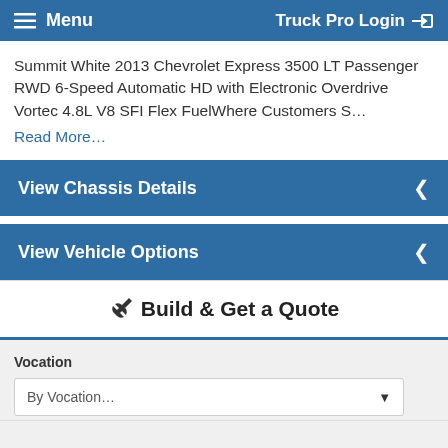Menu   Truck Pro Login
Summit White 2013 Chevrolet Express 3500 LT Passenger RWD 6-Speed Automatic HD with Electronic Overdrive Vortec 4.8L V8 SFI Flex FuelWhere Customers S…
Read More…
View Chassis Details
View Vehicle Options
Build & Get a Quote
Vocation
By Vocation...